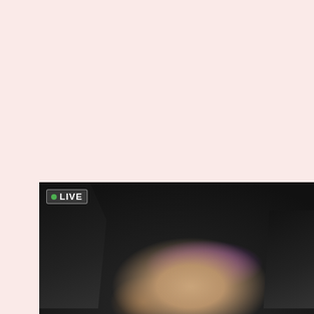[Figure (photo): A dark photograph showing a woman in a purple top lying on a dark floor, with black boots/legs visible. A 'LIVE' badge appears in the top-left corner. Text overlay reads 'SPICE UP YOUR SEX LIFE' in the bottom-left.]